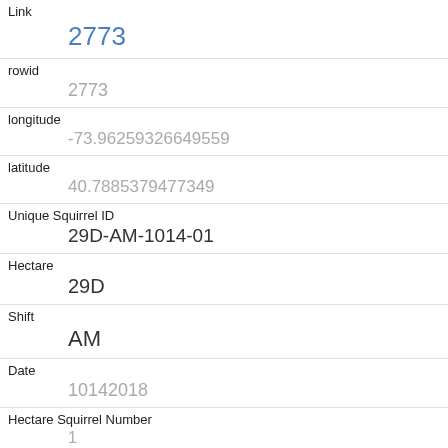| Field | Value |
| --- | --- |
| Link | 2773 |
| rowid | 2773 |
| longitude | -73.96259326649559 |
| latitude | 40.7885379477349 |
| Unique Squirrel ID | 29D-AM-1014-01 |
| Hectare | 29D |
| Shift | AM |
| Date | 10142018 |
| Hectare Squirrel Number | 1 |
| Age | Adult |
| Primary Fur Color |  |